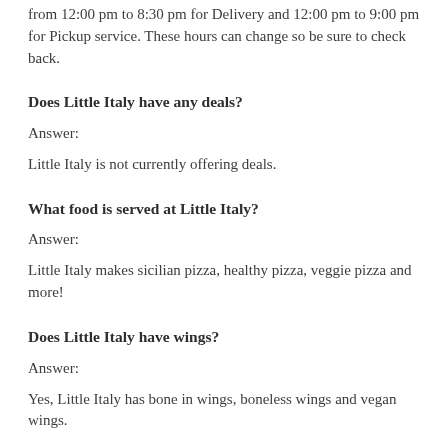from 12:00 pm to 8:30 pm for Delivery and 12:00 pm to 9:00 pm for Pickup service. These hours can change so be sure to check back.
Does Little Italy have any deals?
Answer:
Little Italy is not currently offering deals.
What food is served at Little Italy?
Answer:
Little Italy makes sicilian pizza, healthy pizza, veggie pizza and more!
Does Little Italy have wings?
Answer:
Yes, Little Italy has bone in wings, boneless wings and vegan wings.
Does Little Italy offer vegan or vegetarian pizza?
Answer:
Yes, Little Italy has vegetarian pizza but does not